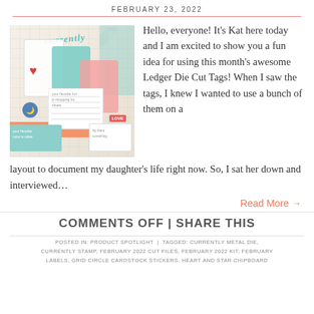FEBRUARY 23, 2022
[Figure (photo): Scrapbook layout photo showing tags with 'currently' handwritten text, teal and pink die-cut tags, a heart embellishment, smiley face, and orange date strip reading JANUARY 22]
Hello, everyone! It's Kat here today and I am excited to show you a fun idea for using this month's awesome Ledger Die Cut Tags! When I saw the tags, I knew I wanted to use a bunch of them on a layout to document my daughter's life right now. So, I sat her down and interviewed…
Read More →
COMMENTS OFF | SHARE THIS
POSTED IN: PRODUCT SPOTLIGHT  |  TAGGED: CURRENTLY METAL DIE, CURRENTLY STAMP, FEBRUARY 2022 CUT FILES, FEBRUARY 2022 KIT, FEBRUARY LABELS, GRID CIRCLE CARDSTOCK STICKERS, HEART AND STAR CHIPBOARD